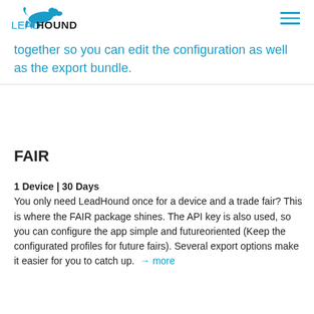LEADHOUND
together so you can edit the configuration as well as the export bundle.
FAIR
1 Device | 30 Days
You only need LeadHound once for a device and a trade fair? This is where the FAIR package shines. The API key is also used, so you can configure the app simple and futureoriented (Keep the configurated profiles for future fairs). Several export options make it easier for you to catch up. → more